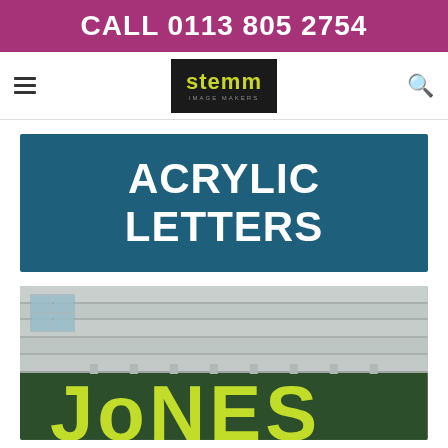CALL 0113 805 2754
[Figure (logo): Stemm Image Makers logo — yellow/lime text on dark background]
ACRYLIC LETTERS
[Figure (photo): Photograph of a building facade with green illuminated acrylic letters (Jones) on a dark green sign panel, stone building above]